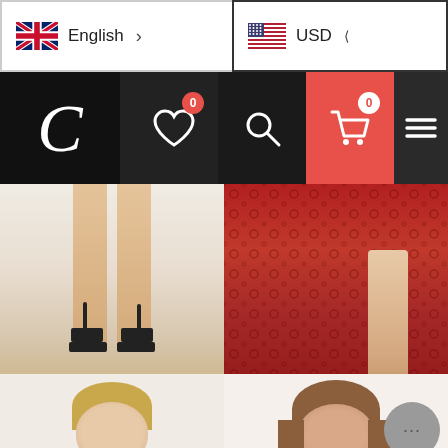English  |  USD
[Figure (screenshot): Website navigation header with logo 'C', heart wishlist icon with badge 0, search icon, cart icon with badge 0, and hamburger menu]
[Figure (photo): Party Dresses category image showing legs in black heeled sandals, white/nude background]
Party Dresses
[Figure (photo): Formal Dresses category image showing red lace/sequin gown hem and legs in nude heels]
Formal Dresses
[Figure (photo): Black lace long-sleeve dress on blonde model]
[Figure (photo): White V-neck dress on brunette model with chat support bubble overlay]